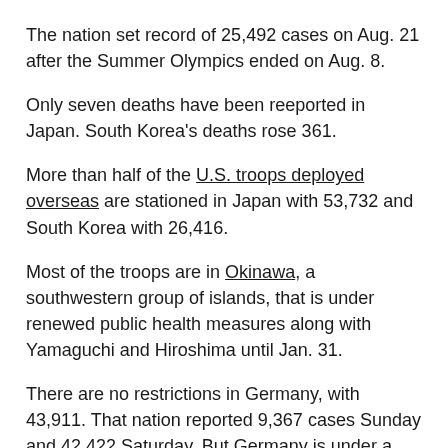The nation set record of 25,492 cases on Aug. 21 after the Summer Olympics ended on Aug. 8.
Only seven deaths have been reeported in Japan. South Korea's deaths rose 361.
More than half of the U.S. troops deployed overseas are stationed in Japan with 53,732 and South Korea with 26,416.
Most of the troops are in Okinawa, a southwestern group of islands, that is under renewed public health measures along with Yamaguchi and Hiroshima until Jan. 31.
There are no restrictions in Germany, with 43,911. That nation reported 9,367 cases Sunday and 42,422 Saturday. But Germany is under a nationwide lockdown for the unvaccinated, including nonessential services. Large